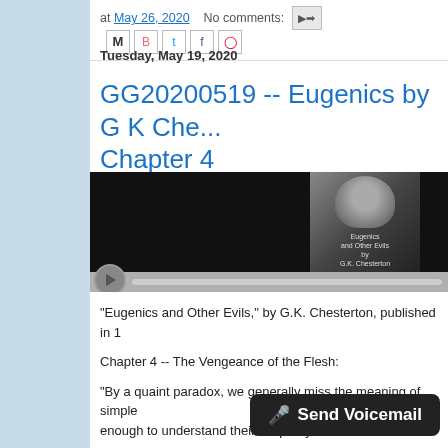at May 26, 2020   No comments:
Tuesday, May 19, 2020
GG20200519 -- Eugenics by G K Che... Chapter 4
[Figure (screenshot): Embedded video player showing a dark video thumbnail with a man's face and text 'Eugenics and Other Evils by G.K. Chesterton', with playback controls below]
"Eugenics and Other Evils," by G.K. Chesterton, published in 19...
Chapter 4 -- The Vengeance of the Flesh:
"By a quaint paradox, we generally miss the meaning of simple... enough to understand their simplicity."
Comments to 218-214-CALL (
Send Voicemail